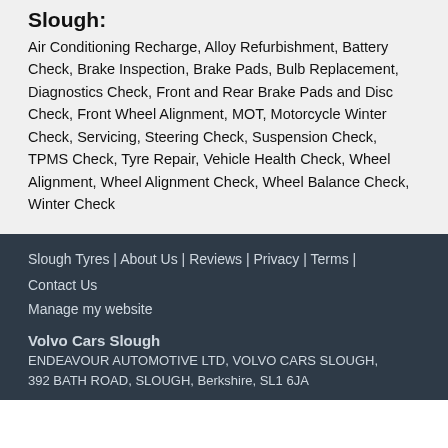Slough:
Air Conditioning Recharge, Alloy Refurbishment, Battery Check, Brake Inspection, Brake Pads, Bulb Replacement, Diagnostics Check, Front and Rear Brake Pads and Disc Check, Front Wheel Alignment, MOT, Motorcycle Winter Check, Servicing, Steering Check, Suspension Check, TPMS Check, Tyre Repair, Vehicle Health Check, Wheel Alignment, Wheel Alignment Check, Wheel Balance Check, Winter Check
Slough Tyres | About Us | Reviews | Privacy | Terms | Contact Us
Manage my website
Volvo Cars Slough
ENDEAVOUR AUTOMOTIVE LTD, VOLVO CARS SLOUGH, 392 BATH ROAD, SLOUGH, Berkshire, SL1 6JA